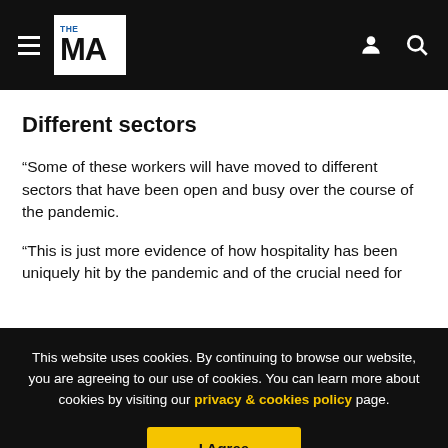THE MA — navigation bar with hamburger menu, logo, user icon, and search icon
Different sectors
“Some of these workers will have moved to different sectors that have been open and busy over the course of the pandemic.
“This is just more evidence of how hospitality has been uniquely hit by the pandemic and of the crucial need for
This website uses cookies. By continuing to browse our website, you are agreeing to our use of cookies. You can learn more about cookies by visiting our privacy & cookies policy page.
I Agree